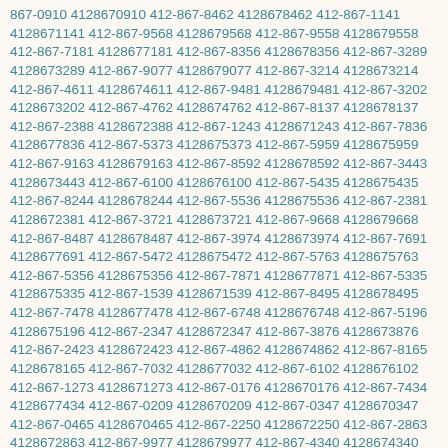867-0910 4128670910 412-867-8462 4128678462 412-867-1141 4128671141 412-867-9568 4128679568 412-867-9558 4128679558 412-867-7181 4128677181 412-867-8356 4128678356 412-867-3289 4128673289 412-867-9077 4128679077 412-867-3214 4128673214 412-867-4611 4128674611 412-867-9481 4128679481 412-867-3202 4128673202 412-867-4762 4128674762 412-867-8137 4128678137 412-867-2388 4128672388 412-867-1243 4128671243 412-867-7836 4128677836 412-867-5373 4128675373 412-867-5959 4128675959 412-867-9163 4128679163 412-867-8592 4128678592 412-867-3443 4128673443 412-867-6100 4128676100 412-867-5435 4128675435 412-867-8244 4128678244 412-867-5536 4128675536 412-867-2381 4128672381 412-867-3721 4128673721 412-867-9668 4128679668 412-867-8487 4128678487 412-867-3974 4128673974 412-867-7691 4128677691 412-867-5472 4128675472 412-867-5763 4128675763 412-867-5356 4128675356 412-867-7871 4128677871 412-867-5335 4128675335 412-867-1539 4128671539 412-867-8495 4128678495 412-867-7478 4128677478 412-867-6748 4128676748 412-867-5196 4128675196 412-867-2347 4128672347 412-867-3876 4128673876 412-867-2423 4128672423 412-867-4862 4128674862 412-867-8165 4128678165 412-867-7032 4128677032 412-867-6102 4128676102 412-867-1273 4128671273 412-867-0176 4128670176 412-867-7434 4128677434 412-867-0209 4128670209 412-867-0347 4128670347 412-867-0465 4128670465 412-867-2250 4128672250 412-867-2863 4128672863 412-867-9977 4128679977 412-867-4340 4128674340 412-867-2020 4128672020 412-867-4212 4128674212 412-867-2079 4128672079 412-867-0946 4128670946 412-867-2285 4128672285 412-867-4173 4128674173 412-867-1972 4128671972 412-867-8497